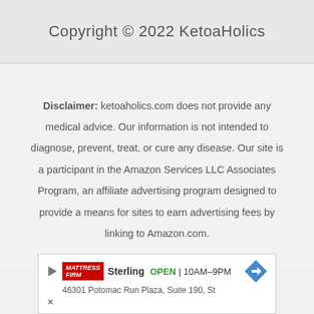Copyright © 2022 KetoaHolics
Disclaimer: ketoaholics.com does not provide any medical advice. Our information is not intended to diagnose, prevent, treat, or cure any disease. Our site is a participant in the Amazon Services LLC Associates Program, an affiliate advertising program designed to provide a means for sites to earn advertising fees by linking to Amazon.com.
[Figure (other): Advertisement banner for Mattress Firm Sterling location showing store name, OPEN status, hours 10AM-9PM, address 46301 Potomac Run Plaza, Suite 190, St, with navigation arrow icon]